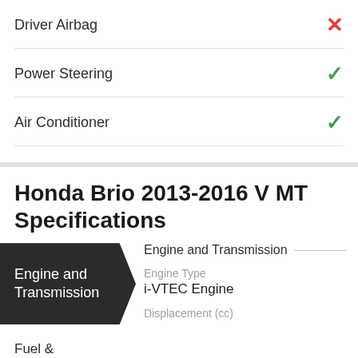Driver Airbag — ✗
Power Steering — ✓
Air Conditioner — ✓
Honda Brio 2013-2016 V MT Specifications
Engine and Transmission
Engine Type
i-VTEC Engine
Displacement (cc)